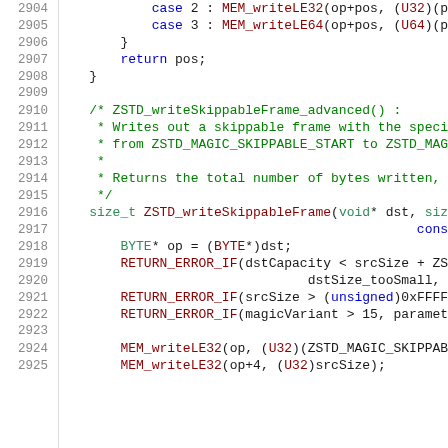Source code listing lines 2904-2925, showing C code for ZSTD_writeSkippableFrame function and related code.